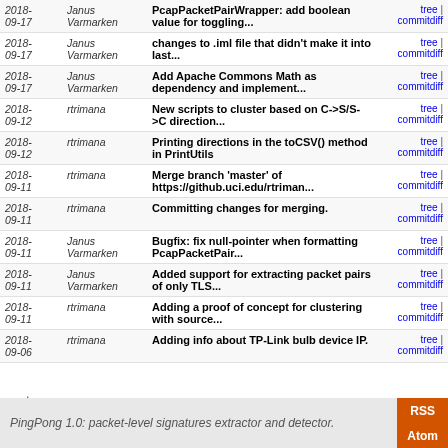| Date | Author | Message | Links |
| --- | --- | --- | --- |
| 2018-09-17 | Janus Varmarken | PcapPacketPairWrapper: add boolean value for toggling... | tree | commitdiff |
| 2018-09-17 | Janus Varmarken | changes to .iml file that didn't make it into last... | tree | commitdiff |
| 2018-09-17 | Janus Varmarken | Add Apache Commons Math as dependency and implement... | tree | commitdiff |
| 2018-09-12 | rtrimana | New scripts to cluster based on C->S/S->C direction... | tree | commitdiff |
| 2018-09-12 | rtrimana | Printing directions in the toCSV() method in PrintUtils | tree | commitdiff |
| 2018-09-11 | rtrimana | Merge branch 'master' of https://github.uci.edu/rtriman... | tree | commitdiff |
| 2018-09-11 | rtrimana | Committing changes for merging. | tree | commitdiff |
| 2018-09-11 | Janus Varmarken | Bugfix: fix null-pointer when formatting PcapPacketPair... | tree | commitdiff |
| 2018-09-11 | Janus Varmarken | Added support for extracting packet pairs of only TLS... | tree | commitdiff |
| 2018-09-11 | rtrimana | Adding a proof of concept for clustering with source... | tree | commitdiff |
| 2018-09-06 | rtrimana | Adding info about TP-Link bulb device IP. | tree | commitdiff |
next
PingPong 1.0: packet-level signatures extractor and detector.